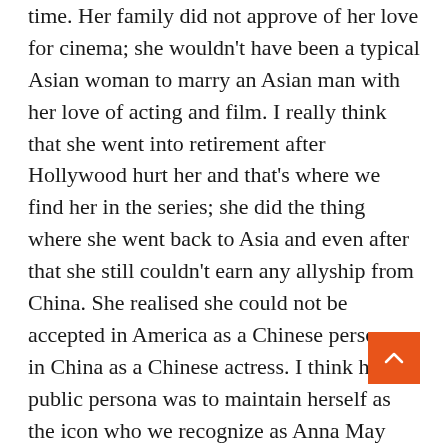time. Her family did not approve of her love for cinema; she wouldn't have been a typical Asian woman to marry an Asian man with her love of acting and film. I really think that she went into retirement after Hollywood hurt her and that's where we find her in the series; she did the thing where she went back to Asia and even after that she still couldn't earn any allyship from China. She realised she could not be accepted in America as a Chinese person, or in China as a Chinese actress. I think her public persona was to maintain herself as the icon who we recognize as Anna May Wong, but my sense was that she had been broken by Hollywood.
I did watch one of her last films and I was so sad to see her play a servant in her last film. You could just see the glory she once had. Hollywood will do that to you.
Tell us how you felt when you read the script. Were you